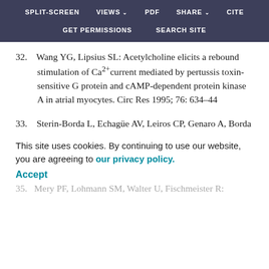SPLIT-SCREEN   VIEWS   PDF   SHARE   CITE   GET PERMISSIONS   SEARCH SITE
32.   Wang YG, Lipsius SL: Acetylcholine elicits a rebound stimulation of Ca2+ current mediated by pertussis toxin-sensitive G protein and cAMP-dependent protein kinase A in atrial myocytes. Circ Res 1995; 76: 634–44
33.   Sterin-Borda L, Echagüe AV, Leiros CP, Genaro A, Borda E: Endogenous nitric oxide signalling system and the cardiac muscarinic acetylcholine receptorinotropic response. Br J Pharmacol 1995; 115: 1525–31
34.   Vaandrager AB, de Jonge HR: Signalling by cGMP- 1996;
This site uses cookies. By continuing to use our website, you are agreeing to our privacy policy. Accept
35.   Mery PF, Lohmann SM, Walter U, Fischmeister R: